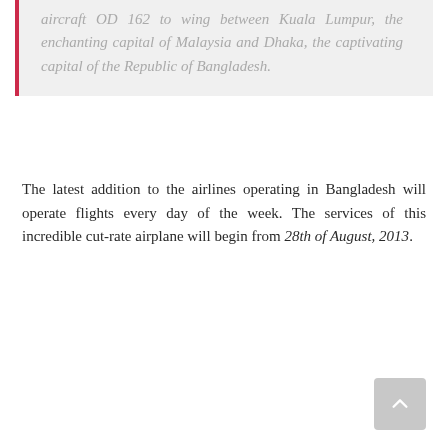aircraft OD 162 to wing between Kuala Lumpur, the enchanting capital of Malaysia and Dhaka, the captivating capital of the Republic of Bangladesh.
The latest addition to the airlines operating in Bangladesh will operate flights every day of the week. The services of this incredible cut-rate airplane will begin from 28th of August, 2013.